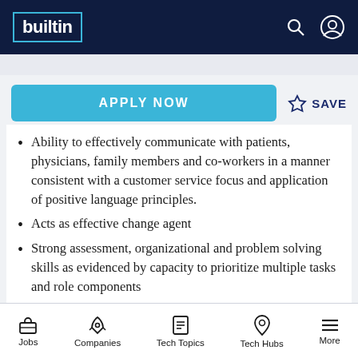builtin
Ability to effectively communicate with patients, physicians, family members and co-workers in a manner consistent with a customer service focus and application of positive language principles.
Acts as effective change agent
Strong assessment, organizational and problem solving skills as evidenced by capacity to prioritize multiple tasks and role components
Demonstrates expert time management
Jobs  Companies  Tech Topics  Tech Hubs  More